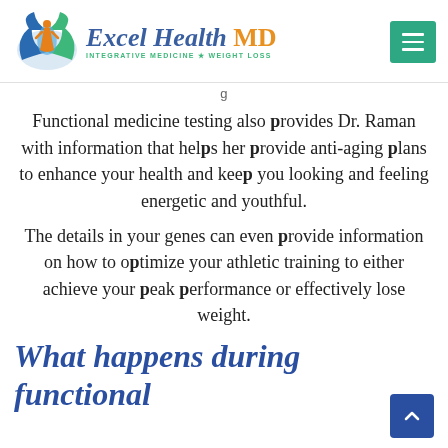[Figure (logo): Excel Health MD logo with lotus flower and human figure, blue and green colors, with tagline INTEGRATIVE MEDICINE ★ WEIGHT LOSS]
Functional medicine testing also provides Dr. Raman with information that helps her provide anti-aging plans to enhance your health and keep you looking and feeling energetic and youthful.
The details in your genes can even provide information on how to optimize your athletic training to either achieve your peak performance or effectively lose weight.
What happens during functional